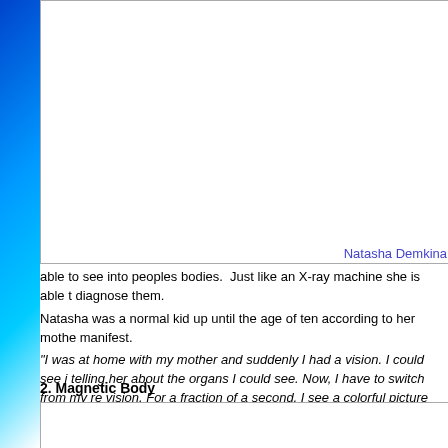[Figure (photo): Photo placeholder at top of page, partially visible]
Natasha Demkina
able to see into peoples bodies.  Just like an X-ray machine she is able to diagnose them.
Natasha was a normal kid up until the age of ten according to her mother when it began to manifest.
“I was at home with my mother and suddenly I had a vision. I could see inside her and I started telling her about the organs I could see. Now, I have to switch from my regular vision to the medical vision. For a fraction of a second, I see a colorful picture inside the person” – Natasha Demkina
2. Magnetic Body
[Figure (photo): Photo placeholder at bottom of page]